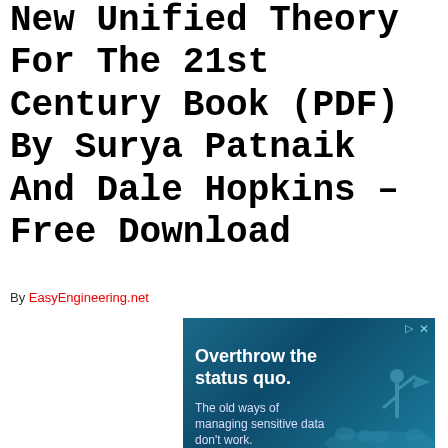Strength Of Materials: A New Unified Theory For The 21st Century Book (PDF) By Surya Patnaik And Dale Hopkins – Free Download
By EasyEngineering.net
[Figure (other): Advertisement banner with dark blue background showing 'Overthrow the status quo. The old ways of managing sensitive data don't work.' with a silhouette figure raising a flag]